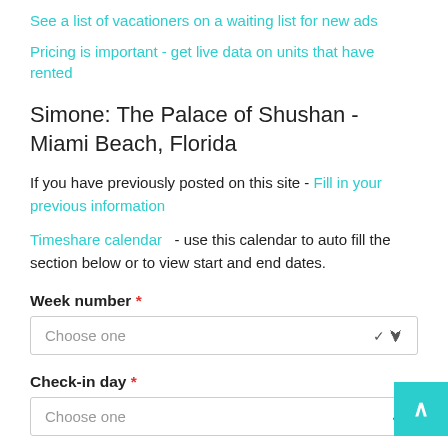See a list of vacationers on a waiting list for new ads
Pricing is important - get live data on units that have rented
Simone: The Palace of Shushan - Miami Beach, Florida
If you have previously posted on this site - Fill in your previous information
Timeshare calendar   - use this calendar to auto fill the section below or to view start and end dates.
Week number *
Choose one
Check-in day *
Choose one